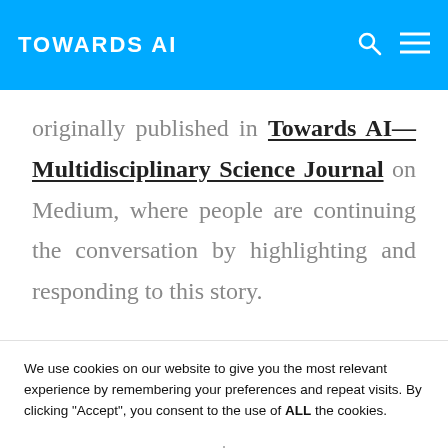TOWARDS AI
originally published in Towards AI—Multidisciplinary Science Journal on Medium, where people are continuing the conversation by highlighting and responding to this story.
We use cookies on our website to give you the most relevant experience by remembering your preferences and repeat visits. By clicking “Accept”, you consent to the use of ALL the cookies.
Cookie Settings  Accept